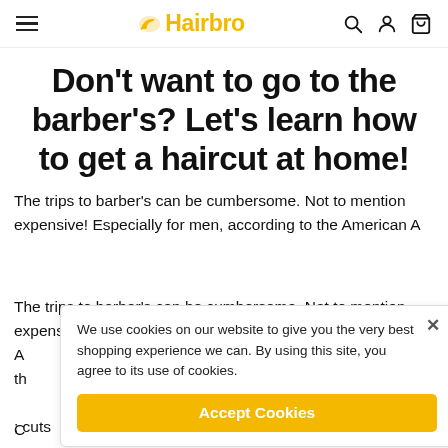Hairbro — navigation bar with hamburger menu, logo, search, user, and cart icons
Don't want to go to the barber's? Let's learn how to get a haircut at home!
The trips to barber's can be cumbersome. Not to mention expensive! Especially for men, according to the American A[merican] ... ster rate th[at] ... cuts re[quire] ... your own hair is
We use cookies on our website to give you the very best shopping experience we can. By using this site, you agree to its use of cookies.
Accept Cookies
C[ontinuing] ... ople. Above everything else, know what you want to do for the haircut is the